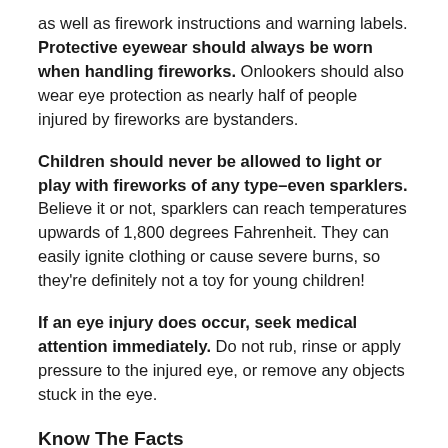as well as firework instructions and warning labels. Protective eyewear should always be worn when handling fireworks. Onlookers should also wear eye protection as nearly half of people injured by fireworks are bystanders.
Children should never be allowed to light or play with fireworks of any type–even sparklers. Believe it or not, sparklers can reach temperatures upwards of 1,800 degrees Fahrenheit. They can easily ignite clothing or cause severe burns, so they're definitely not a toy for young children!
If an eye injury does occur, seek medical attention immediately. Do not rub, rinse or apply pressure to the injured eye, or remove any objects stuck in the eye.
Know The Facts
Understanding the prevalence of fireworks-related